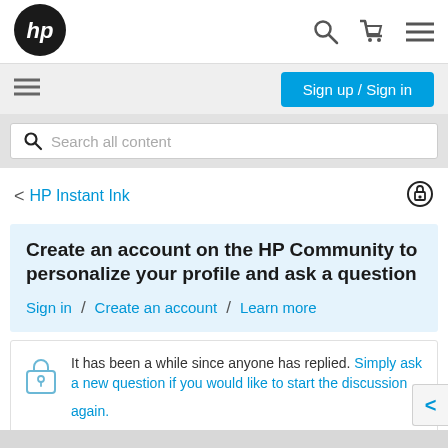[Figure (logo): HP logo - black circle with white hp text]
Sign up / Sign in
Search all content
< HP Instant Ink
Create an account on the HP Community to personalize your profile and ask a question
Sign in / Create an account / Learn more
It has been a while since anyone has replied. Simply ask a new question if you would like to start the discussion again.